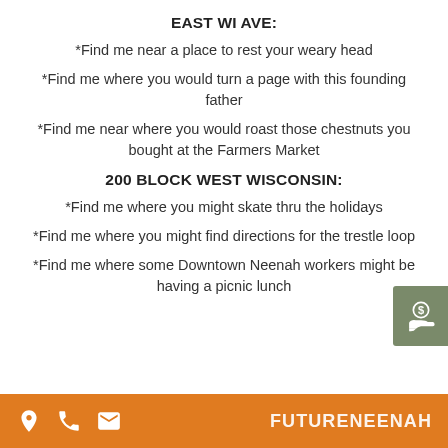EAST WI AVE:
*Find me near a place to rest your weary head
*Find me where you would turn a page with this founding father
*Find me near where you would roast those chestnuts you bought at the Farmers Market
200 BLOCK WEST WISCONSIN:
*Find me where you might skate thru the holidays
*Find me where you might find directions for the trestle loop
*Find me where some Downtown Neenah workers might be having a picnic lunch
FUTURENEENAH